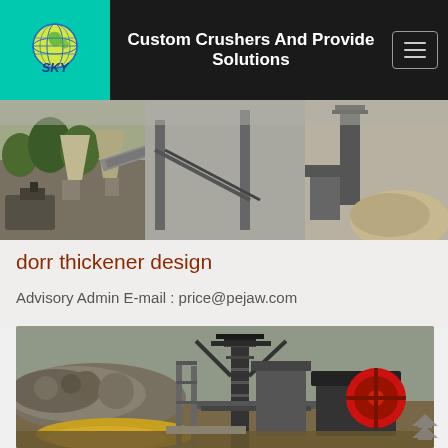Custom Crushers And Provide Solutions
[Figure (photo): SKY company logo with globe graphic on teal background, company name in blue italic text]
[Figure (photo): Industrial crusher and conveyor equipment site panoramic photo strip]
dorr thickener design
Advisory Admin E-mail : price@pejaw.com
[Figure (photo): Mining and crushing industrial site with large rock pile and crusher machinery with red flywheel]